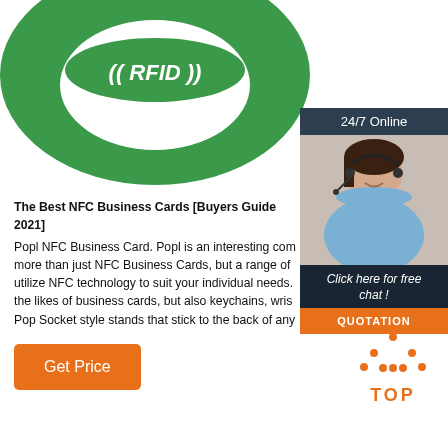[Figure (photo): Green RFID wristband/tag with ((RFID)) text on it, partially cropped at top]
[Figure (infographic): 24/7 Online chat widget showing a customer service representative with headset, 'Click here for free chat!' text and orange QUOTATION button]
The Best NFC Business Cards [Buyers Guide 2021]
Popl NFC Business Card. Popl is an interesting company that offers more than just NFC Business Cards, but a range of products that utilize NFC technology to suit your individual needs. These include the likes of business cards, but also keychains, wristbands, and Pop Socket style stands that stick to the back of any phone.
[Figure (other): Orange 'Get Price' button]
[Figure (other): Orange dotted triangle TOP icon with 'TOP' text below]